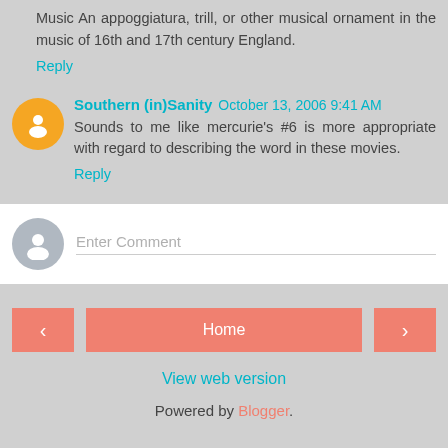Music An appoggiatura, trill, or other musical ornament in the music of 16th and 17th century England.
Reply
Southern (in)Sanity October 13, 2006 9:41 AM
Sounds to me like mercurie's #6 is more appropriate with regard to describing the word in these movies.
Reply
[Figure (other): Comment input box with gray avatar and Enter Comment placeholder]
[Figure (other): Navigation bar with left arrow, Home button, right arrow]
View web version
Powered by Blogger.